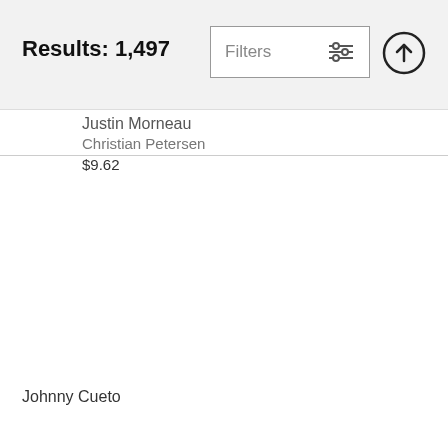Results: 1,497
Justin Morneau
Christian Petersen
$9.62
Johnny Cueto